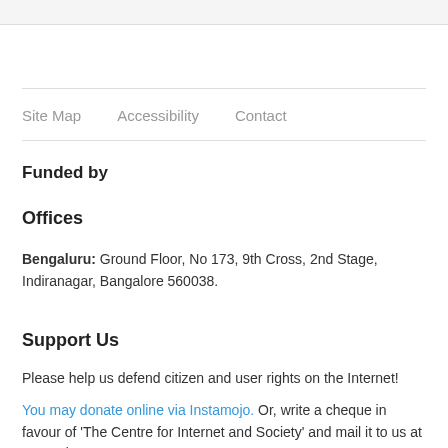Site Map   Accessibility   Contact
Funded by
Offices
Bengaluru: Ground Floor, No 173, 9th Cross, 2nd Stage, Indiranagar, Bangalore 560038.
Support Us
Please help us defend citizen and user rights on the Internet!
You may donate online via Instamojo. Or, write a cheque in favour of 'The Centre for Internet and Society' and mail it to us at Ground